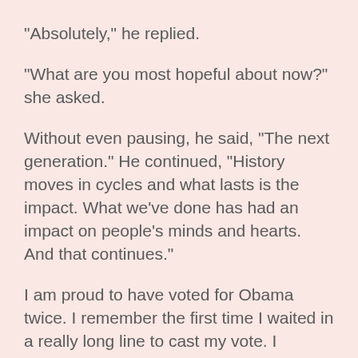"Absolutely," he replied.
"What are you most hopeful about now?" she asked.
Without even pausing, he said, "The next generation." He continued, "History moves in cycles and what lasts is the impact. What we've done has had an impact on people's minds and hearts. And that continues."
I am proud to have voted for Obama twice. I remember the first time I waited in a really long line to cast my vote. I watched the election results that night. It was getting late, so I told Paul to wake me up when Obama came out for his acceptance speech.
We had a television in our bedroom back then, so when Paul woke me up and turned on the TV, I propped myself up on my pillows and had a good cry